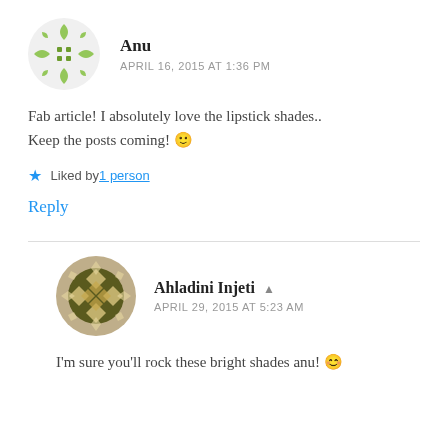[Figure (illustration): Green geometric avatar for user Anu]
Anu
APRIL 16, 2015 AT 1:36 PM
Fab article! I absolutely love the lipstick shades.. Keep the posts coming! 🙂
★ Liked by 1 person
Reply
[Figure (illustration): Brown/olive decorative diamond-pattern avatar for user Ahladini Injeti]
Ahladini Injeti ▲
APRIL 29, 2015 AT 5:23 AM
I'm sure you'll rock these bright shades anu! 😊